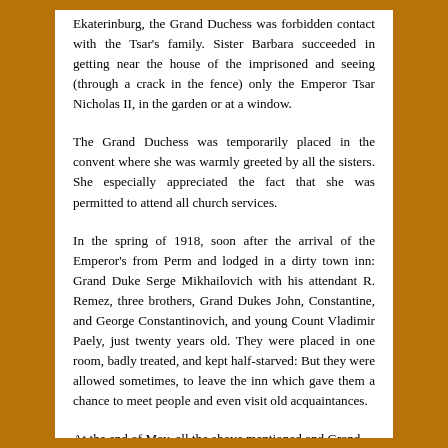Ekaterinburg, the Grand Duchess was forbidden contact with the Tsar's family. Sister Barbara succeeded in getting near the house of the imprisoned and seeing (through a crack in the fence) only the Emperor Tsar Nicholas II, in the garden or at a window.
The Grand Duchess was temporarily placed in the convent where she was warmly greeted by all the sisters. She especially appreciated the fact that she was permitted to attend all church services.
In the spring of 1918, soon after the arrival of the Emperor's from Perm and lodged in a dirty town inn: Grand Duke Serge Mikhailovich with his attendant R. Remez, three brothers, Grand Dukes John, Constantine, and George Constantinovich, and young Count Vladimir Paely, just twenty years old. They were placed in one room, badly treated, and kept half-starved: But they were allowed sometimes, to leave the inn which gave them a chance to meet people and even visit old acquaintances.
At the end of May, all the above mentioned and Grand